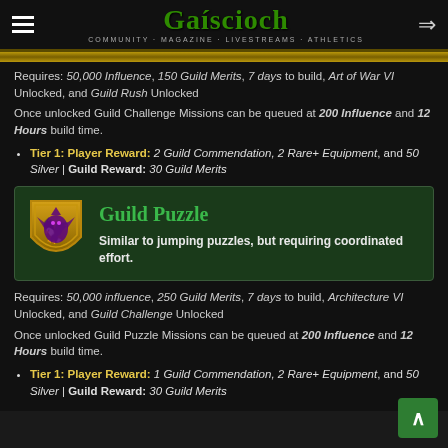Gaíscioch — COMMUNITY · MAGAZINE · LIVESTREAMS · ATHLETICS
Requires: 50,000 Influence, 150 Guild Merits, 7 days to build, Art of War VI Unlocked, and Guild Rush Unlocked
Once unlocked Guild Challenge Missions can be queued at 200 Influence and 12 Hours build time.
Tier 1: Player Reward: 2 Guild Commendation, 2 Rare+ Equipment, and 50 Silver | Guild Reward: 30 Guild Merits
[Figure (illustration): Yellow shield with purple griffin/dragon creature icon representing Guild Puzzle]
Guild Puzzle
Similar to jumping puzzles, but requiring coordinated effort.
Requires: 50,000 influence, 250 Guild Merits, 7 days to build, Architecture VI Unlocked, and Guild Challenge Unlocked
Once unlocked Guild Puzzle Missions can be queued at 200 Influence and 12 Hours build time.
Tier 1: Player Reward: 1 Guild Commendation, 2 Rare+ Equipment, and 50 Silver | Guild Reward: 30 Guild Merits